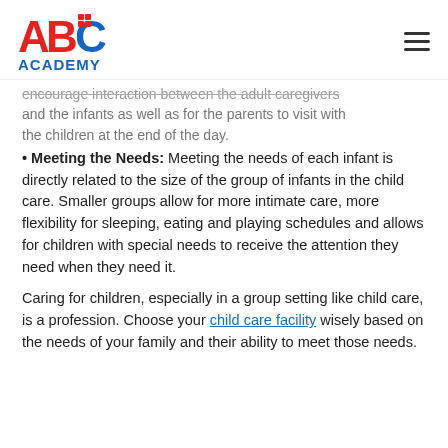ABC ACADEMY
encourage interaction between the adult caregivers and the infants as well as for the parents to visit with the children at the end of the day.
Meeting the Needs: Meeting the needs of each infant is directly related to the size of the group of infants in the child care. Smaller groups allow for more intimate care, more flexibility for sleeping, eating and playing schedules and allows for children with special needs to receive the attention they need when they need it.
Caring for children, especially in a group setting like child care, is a profession. Choose your child care facility wisely based on the needs of your family and their ability to meet those needs.